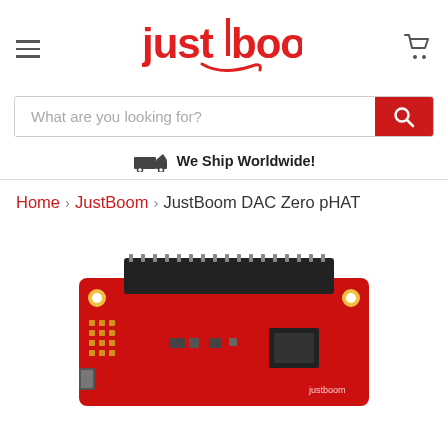[Figure (logo): JustBoom logo in red with stylized text and underline swoosh]
[Figure (illustration): Hamburger menu icon (three horizontal lines) on left, shopping cart icon on right]
What are you looking for?
We Ship Worldwide!
Home > JustBoom > JustBoom DAC Zero pHAT
[Figure (photo): JustBoom DAC Zero pHAT circuit board - red PCB with 40-pin GPIO connector, partial view at bottom of page]